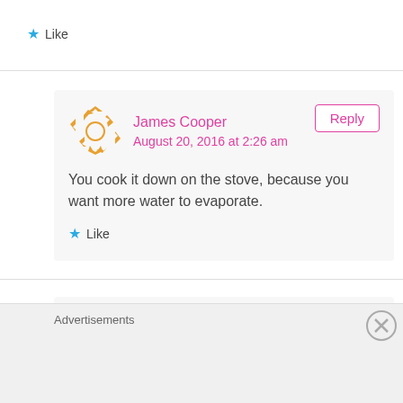★ Like
James Cooper
August 20, 2016 at 2:26 am
You cook it down on the stove, because you want more water to evaporate.
★ Like
James Cooper Reply
Advertisements